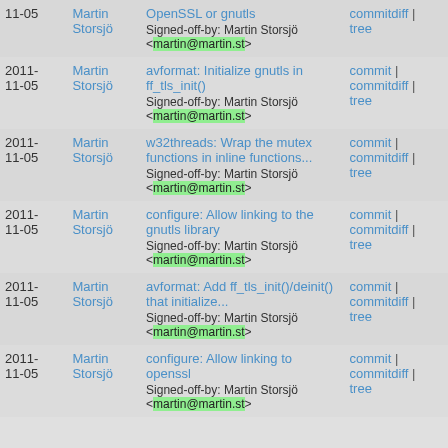| Date | Author | Description | Links |
| --- | --- | --- | --- |
| 11-05 | Martin Storsjö | OpenSSL or gnutls
Signed-off-by: Martin Storsjö <martin@martin.st> | commitdiff | tree |
| 2011-
11-05 | Martin Storsjö | avformat: Initialize gnutls in ff_tls_init()
Signed-off-by: Martin Storsjö <martin@martin.st> | commit | commitdiff | tree |
| 2011-
11-05 | Martin Storsjö | w32threads: Wrap the mutex functions in inline functions...
Signed-off-by: Martin Storsjö <martin@martin.st> | commit | commitdiff | tree |
| 2011-
11-05 | Martin Storsjö | configure: Allow linking to the gnutls library
Signed-off-by: Martin Storsjö <martin@martin.st> | commit | commitdiff | tree |
| 2011-
11-05 | Martin Storsjö | avformat: Add ff_tls_init()/deinit() that initialize...
Signed-off-by: Martin Storsjö <martin@martin.st> | commit | commitdiff | tree |
| 2011-
11-05 | Martin Storsjö | configure: Allow linking to openssl
Signed-off-by: Martin Storsjö <martin@martin.st> | commit | commitdiff | tree |